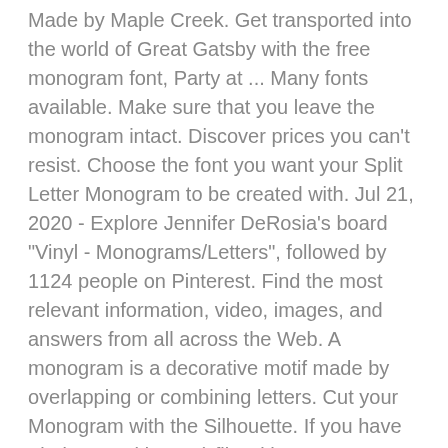Made by Maple Creek. Get transported into the world of Great Gatsby with the free monogram font, Party at ... Many fonts available. Make sure that you leave the monogram intact. Discover prices you can't resist. Choose the font you want your Split Letter Monogram to be created with. Jul 21, 2020 - Explore Jennifer DeRosia's board "Vinyl - Monograms/Letters", followed by 1124 people on Pinterest. Find the most relevant information, video, images, and answers from all across the Web. A monogram is a decorative motif made by overlapping or combining letters. Cut your Monogram with the Silhouette. If you have tried a .svg (dot svg) file with your program/cutting machine and ... There are 1731 vinyl monogram letters for sale on Etsy, and they cost CA$10.08 on average. Monogram Links, Examples, and Uses Adding a monogram can make something seem extra special, unique, and considerate. You guessed it: black. 101 Monograms. Step 6. White or Choose from 13 Colors. Vine Interlocking Monogram Letters Initials Vinyl Decal Sticker . Tweet. **PLEASE NOTE: The decal in the photo is not to scale, it may be enlarged for viewing. Begin creating